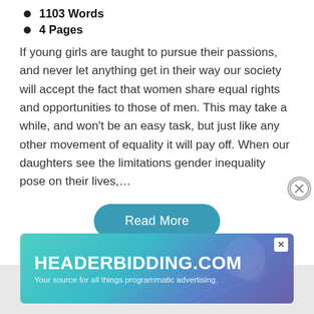1103 Words
4 Pages
If young girls are taught to pursue their passions, and never let anything get in their way our society will accept the fact that women share equal rights and opportunities to those of men. This may take a while, and won't be an easy task, but just like any other movement of equality it will pay off. When our daughters see the limitations gender inequality pose on their lives,…
[Figure (other): Read More button – teal rounded rectangle with white text]
[Figure (other): Close/X button – circular outline with X symbol]
[Figure (other): Advertisement banner for HEADERBIDDING.COM with tagline 'Your source for all things programmatic advertising.' on a teal-to-purple gradient background]